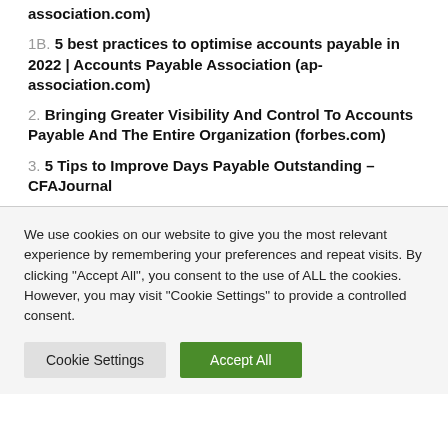association.com)
1B. 5 best practices to optimise accounts payable in 2022 | Accounts Payable Association (ap-association.com)
2. Bringing Greater Visibility And Control To Accounts Payable And The Entire Organization (forbes.com)
3. 5 Tips to Improve Days Payable Outstanding – CFAJournal
We use cookies on our website to give you the most relevant experience by remembering your preferences and repeat visits. By clicking "Accept All", you consent to the use of ALL the cookies. However, you may visit "Cookie Settings" to provide a controlled consent.